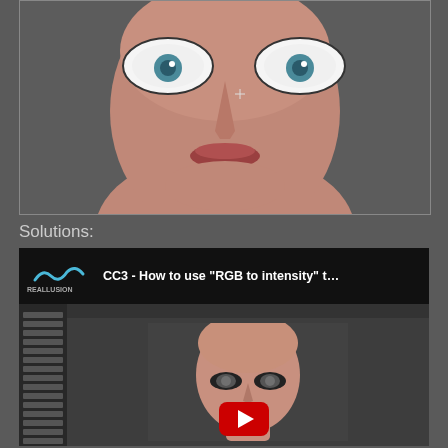[Figure (photo): Close-up render of a 3D female character face with stylized white eye areas and teal eyes, realistic skin texture, dark strap top, on a gray background]
Solutions:
[Figure (screenshot): YouTube video thumbnail showing a Reallusion tutorial titled 'CC3 - How to use "RGB to intensity" t...' with a bald 3D female character head visible in the video player, sidebar panel on left, and a red YouTube play button overlay]